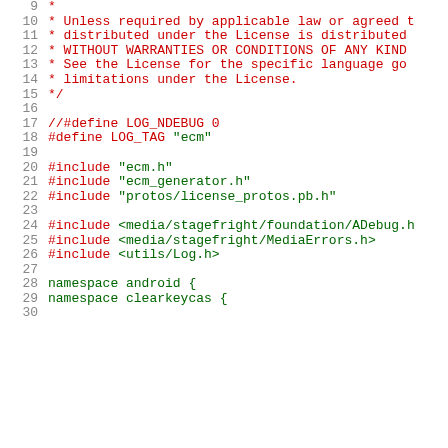9   *
10   * Unless required by applicable law or agreed t
11   * distributed under the License is distributed
12   * WITHOUT WARRANTIES OR CONDITIONS OF ANY KIND
13   * See the License for the specific language go
14   * limitations under the License.
15   */
16
17   //#define LOG_NDEBUG 0
18   #define LOG_TAG "ecm"
19
20   #include "ecm.h"
21   #include "ecm_generator.h"
22   #include "protos/license_protos.pb.h"
23
24   #include <media/stagefright/foundation/ADebug.h
25   #include <media/stagefright/MediaErrors.h>
26   #include <utils/Log.h>
27
28   namespace android {
29   namespace clearkeycas {
30